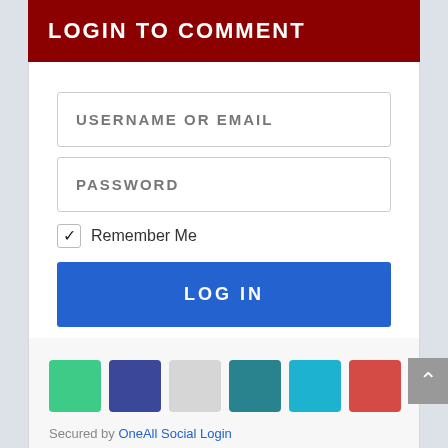LOGIN TO COMMENT
USERNAME OR EMAIL
PASSWORD
Remember Me
LOG IN
[Figure (other): Six social login icon color squares: green, navy, gray, teal, cyan, red]
Secured by OneAll Social Login